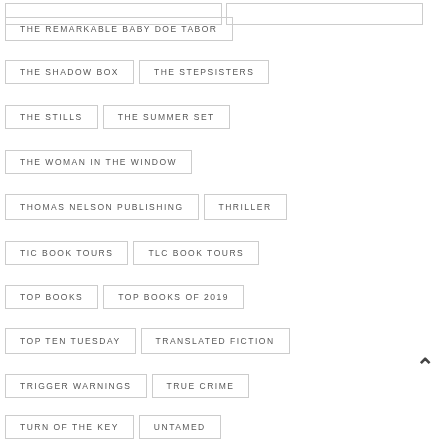THE REMARKABLE BABY DOE TABOR
THE SHADOW BOX
THE STEPSISTERS
THE STILLS
THE SUMMER SET
THE WOMAN IN THE WINDOW
THOMAS NELSON PUBLISHING
THRILLER
TIC BOOK TOURS
TLC BOOK TOURS
TOP BOOKS
TOP BOOKS OF 2019
TOP TEN TUESDAY
TRANSLATED FICTION
TRIGGER WARNINGS
TRUE CRIME
TURN OF THE KEY
UNTAMED
UNTIL WE ARE LOST
VILLAINS